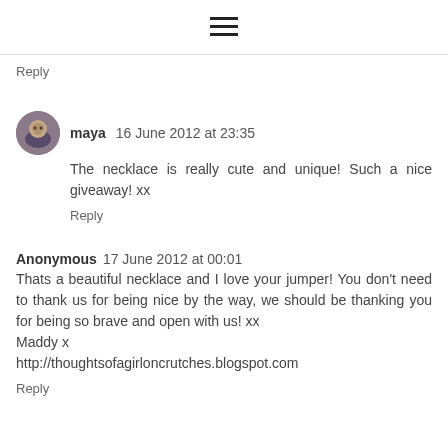☰
Reply
maya  16 June 2012 at 23:35
The necklace is really cute and unique! Such a nice giveaway! xx
Reply
Anonymous  17 June 2012 at 00:01
Thats a beautiful necklace and I love your jumper! You don't need to thank us for being nice by the way, we should be thanking you for being so brave and open with us! xx
Maddy x
http://thoughtsofagirloncrutches.blogspot.com
Reply